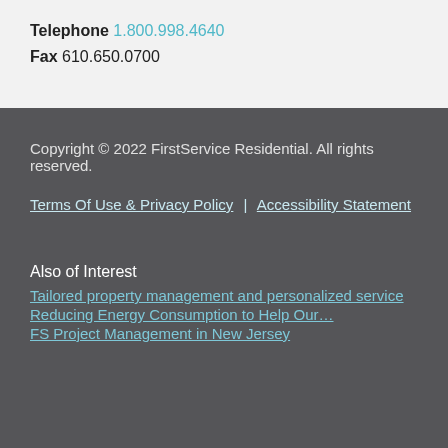Telephone 1.800.998.4640
Fax 610.650.0700
Copyright © 2022 FirstService Residential. All rights reserved.
Terms Of Use & Privacy Policy | Accessibility Statement
Also of Interest
Tailored property management and personalized service
Reducing Energy Consumption to Help Our…
FS Project Management in New Jersey